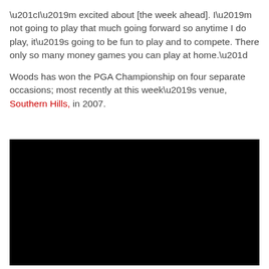“I’m excited about [the week ahead]. I’m not going to play that much going forward so anytime I do play, it’s going to be fun to play and to compete. There only so many money games you can play at home.”
Woods has won the PGA Championship on four separate occasions; most recently at this week’s venue, Southern Hills, in 2007.
[Figure (photo): Black rectangle representing an embedded video or image, fully black.]